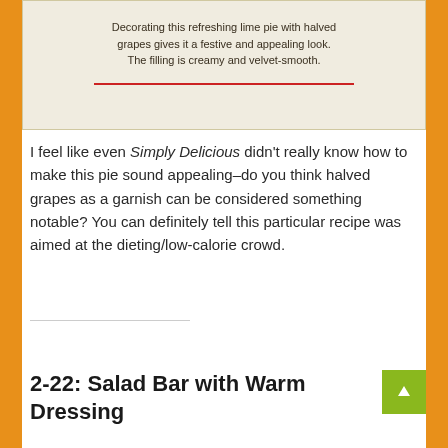[Figure (photo): Scanned recipe card image showing text about decorating a lime pie with halved grapes, with a red horizontal line beneath the text]
Decorating this refreshing lime pie with halved grapes gives it a festive and appealing look. The filling is creamy and velvet-smooth.
I feel like even Simply Delicious didn't really know how to make this pie sound appealing–do you think halved grapes as a garnish can be considered something notable? You can definitely tell this particular recipe was aimed at the dieting/low-calorie crowd.
Read more
2-22: Salad Bar with Warm Dressing